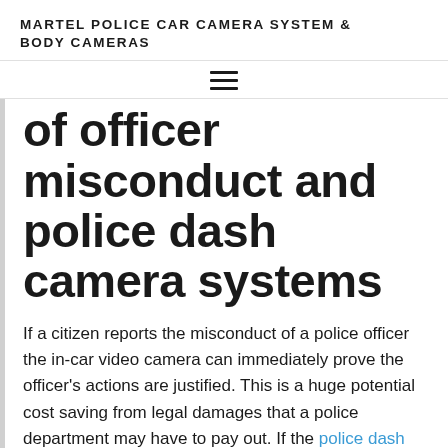MARTEL POLICE CAR CAMERA SYSTEM & BODY CAMERAS
of officer misconduct and police dash camera systems
If a citizen reports the misconduct of a police officer the in-car video camera can immediately prove the officer's actions are justified. This is a huge potential cost saving from legal damages that a police department may have to pay out. If the police dash camera system is high definition this is even better because of the crystal clear video evidence. The police car camera has a large